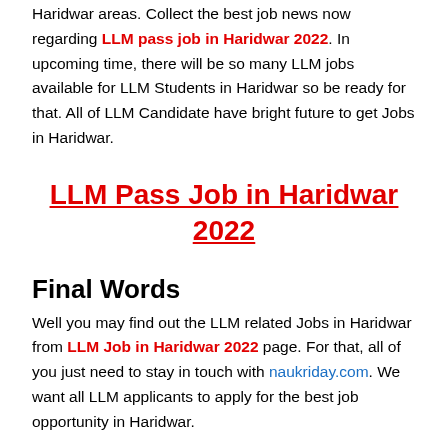Haridwar areas. Collect the best job news now regarding LLM pass job in Haridwar 2022. In upcoming time, there will be so many LLM jobs available for LLM Students in Haridwar so be ready for that. All of LLM Candidate have bright future to get Jobs in Haridwar.
LLM Pass Job in Haridwar 2022
Final Words
Well you may find out the LLM related Jobs in Haridwar from LLM Job in Haridwar 2022 page. For that, all of you just need to stay in touch with naukriday.com. We want all LLM applicants to apply for the best job opportunity in Haridwar.